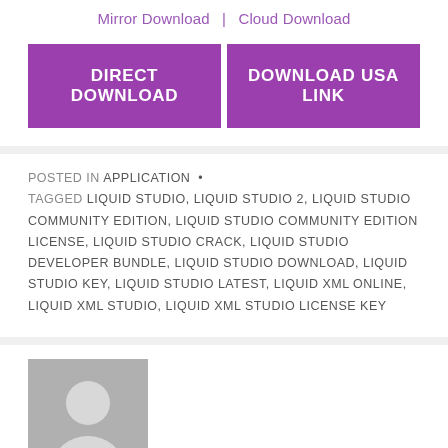Mirror Download | Cloud Download
DIRECT DOWNLOAD
DOWNLOAD USA LINK
POSTED IN APPLICATION • TAGGED LIQUID STUDIO, LIQUID STUDIO 2, LIQUID STUDIO COMMUNITY EDITION, LIQUID STUDIO COMMUNITY EDITION LICENSE, LIQUID STUDIO CRACK, LIQUID STUDIO DEVELOPER BUNDLE, LIQUID STUDIO DOWNLOAD, LIQUID STUDIO KEY, LIQUID STUDIO LATEST, LIQUID XML ONLINE, LIQUID XML STUDIO, LIQUID XML STUDIO LICENSE KEY
[Figure (photo): Generic user avatar placeholder image - grey silhouette of a person on grey background]
Published by admin